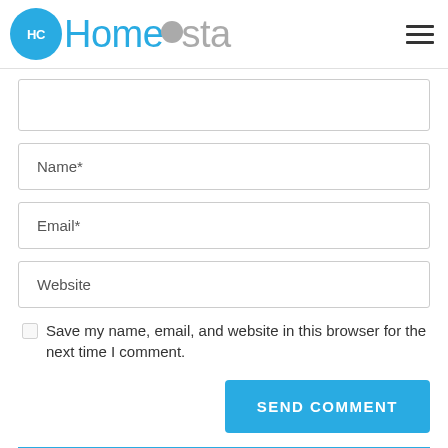HomeCosta
Name*
Email*
Website
Save my name, email, and website in this browser for the next time I comment.
SEND COMMENT